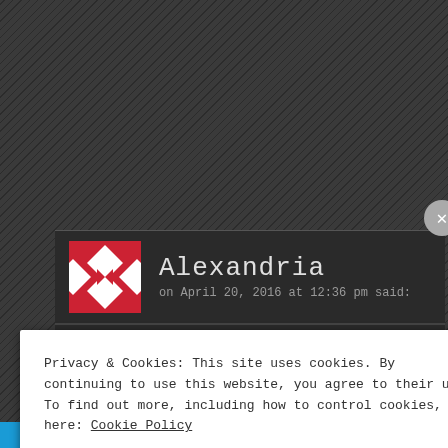[Figure (screenshot): Dark textured website background with diagonal stripe pattern]
Alexandria
on April 20, 2016 at 12:36 pm said:
I want to get a medium sized underboob ta want it to be original. How much do you t
Privacy & Cookies: This site uses cookies. By continuing to use this website, you agree to their use. To find out more, including how to control cookies, see here: Cookie Policy
Close and accept